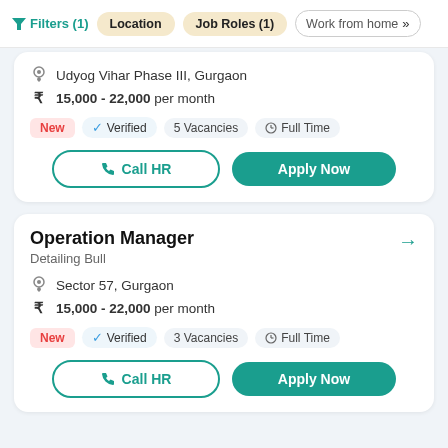Filters (1) | Location | Job Roles (1) | Work from home »
Udyog Vihar Phase III, Gurgaon
₹ 15,000 - 22,000 per month
New | Verified | 5 Vacancies | Full Time
Call HR | Apply Now
Operation Manager
Detailing Bull
Sector 57, Gurgaon
₹ 15,000 - 22,000 per month
New | Verified | 3 Vacancies | Full Time
Call HR | Apply Now